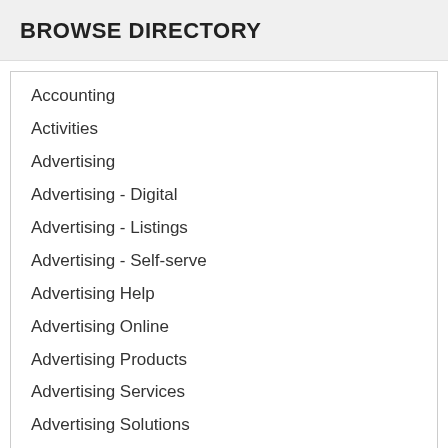BROWSE DIRECTORY
Accounting
Activities
Advertising
Advertising - Digital
Advertising - Listings
Advertising - Self-serve
Advertising Help
Advertising Online
Advertising Products
Advertising Services
Advertising Solutions
Advertising Specialties
Air Conditioning